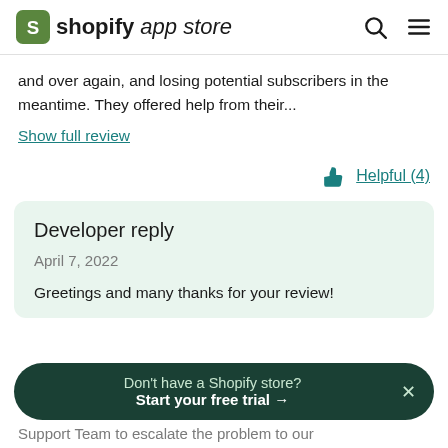shopify app store
and over again, and losing potential subscribers in the meantime. They offered help from their...
Show full review
Helpful (4)
Developer reply
April 7, 2022
Greetings and many thanks for your review!
Don't have a Shopify store? Start your free trial →
Support Team to escalate the problem to our